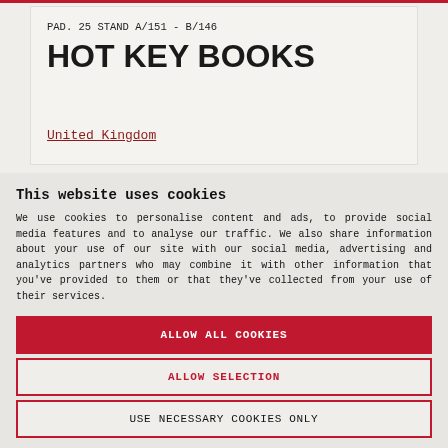PAD. 25 STAND A/151 - B/146
HOT KEY BOOKS
United Kingdom
This website uses cookies
We use cookies to personalise content and ads, to provide social media features and to analyse our traffic. We also share information about your use of our site with our social media, advertising and analytics partners who may combine it with other information that you've provided to them or that they've collected from your use of their services.
ALLOW ALL COOKIES
ALLOW SELECTION
USE NECESSARY COOKIES ONLY